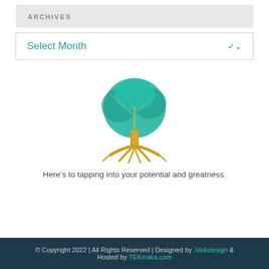ARCHIVES
Select Month
[Figure (illustration): A stylized tree with a teal/turquoise leafy canopy and golden-yellow trunk and roots spreading outward, centered on white background.]
Here’s to tapping into your potential and greatness.
© Copyright 2022 | All Rights Reserved | Designed by Jdubdesign & Hosted by TEKinaka.com